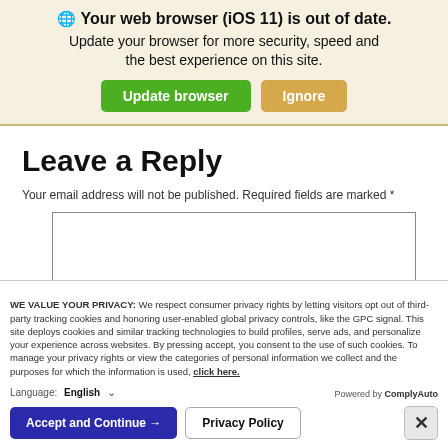[Figure (screenshot): Browser update notification banner with globe icon, title 'Your web browser (iOS 11) is out of date.', subtitle text, and two buttons: 'Update browser' (green) and 'Ignore' (tan/gold).]
Leave a Reply
Your email address will not be published. Required fields are marked *
[Figure (screenshot): Empty comment text area input box with border.]
WE VALUE YOUR PRIVACY: We respect consumer privacy rights by letting visitors opt out of third-party tracking cookies and honoring user-enabled global privacy controls, like the GPC signal. This site deploys cookies and similar tracking technologies to build profiles, serve ads, and personalize your experience across websites. By pressing accept, you consent to the use of such cookies. To manage your privacy rights or view the categories of personal information we collect and the purposes for which the information is used, click here.
Language: English    Powered by ComplyAuto
Accept and Continue →   Privacy Policy   ×